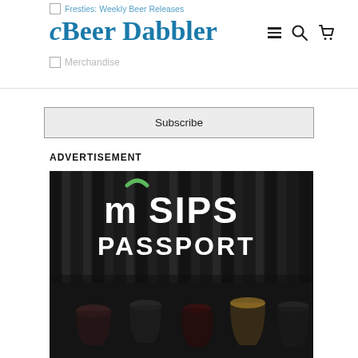Fresties: Weekly Beer Releases | Merchandise | Beer Dabbler
Subscribe
ADVERTISEMENT
[Figure (photo): MN Sips Passport advertisement showing the MN Sips Passport logo (white text with green MN state logo icon) over a dark background with wine and beer glasses in the foreground]